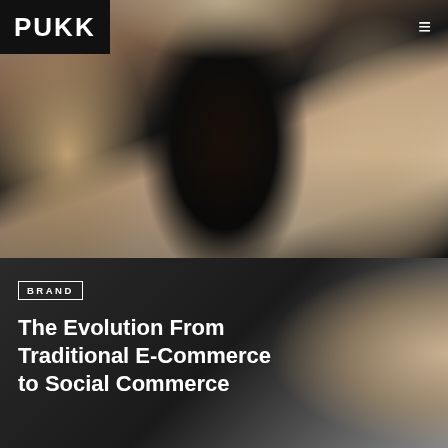[Figure (photo): Three women of different ethnicities smiling together, wearing black tops, posed closely together against a warm brown/beige background. Logo bar overlay at top with PUKK branding and hamburger menu icon.]
PUKK
[Figure (photo): Dark background section with smartphone showing a social commerce interface, partially visible. Text overlay with BRAND category tag and article title.]
BRAND
The Evolution From Traditional E-Commerce to Social Commerce